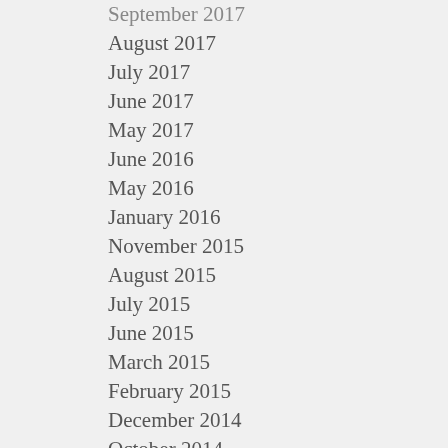September 2017
August 2017
July 2017
June 2017
May 2017
June 2016
May 2016
January 2016
November 2015
August 2015
July 2015
June 2015
March 2015
February 2015
December 2014
October 2014
August 2014
June 2014
May 2014
April 2014
March 2014